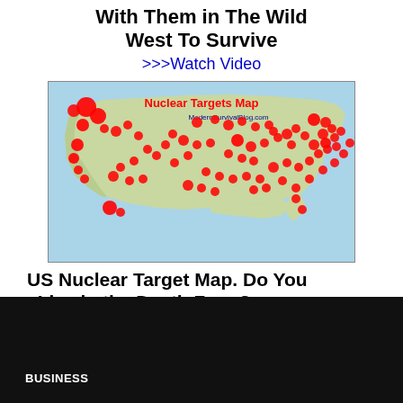With Them in The Wild West To Survive
>>>Watch Video
[Figure (map): Nuclear Targets Map of the United States showing red circles/blobs indicating nuclear target locations across the continental US, Hawaii, and Alaska. Title text reads 'Nuclear Targets Map' in red and 'ModernSurvivalBlog.com' in blue.]
US Nuclear Target Map. Do You Live in the Death Zone?
>>>Watch Video
BUSINESS